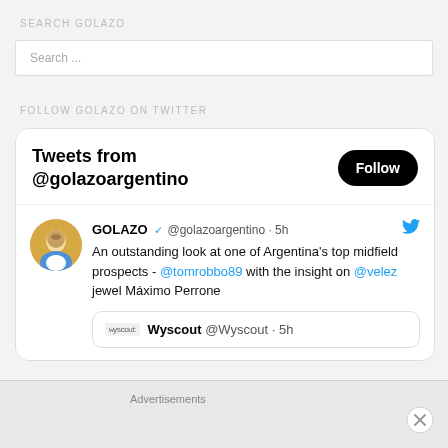SEARCH GOLAZO
Search ...
FOLLOW GOLAZO ON TWITTER
[Figure (screenshot): Twitter/X embedded widget showing tweets from @golazoargentino. Header: 'Tweets from @golazoargentino' with Follow button. Tweet from GOLAZO @golazoargentino · 5h: 'An outstanding look at one of Argentina's top midfield prospects - @tomrobbo89 with the insight on @velez jewel Máximo Perrone'. Quoted tweet from Wyscout @Wyscout · 5h.]
Advertisements